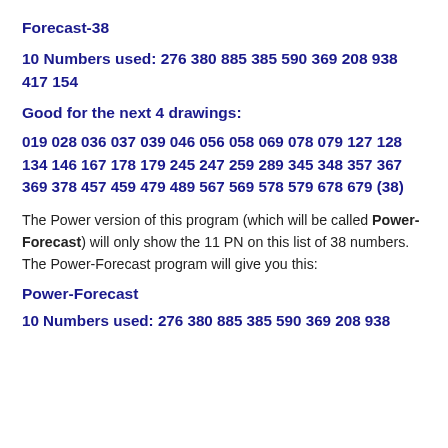Forecast-38
10 Numbers used: 276 380 885 385 590 369 208 938 417 154
Good for the next 4 drawings:
019 028 036 037 039 046 056 058 069 078 079 127 128 134 146 167 178 179 245 247 259 289 345 348 357 367 369 378 457 459 479 489 567 569 578 579 678 679 (38)
The Power version of this program (which will be called Power-Forecast) will only show the 11 PN on this list of 38 numbers. The Power-Forecast program will give you this:
Power-Forecast
10 Numbers used: 276 380 885 385 590 369 208 938